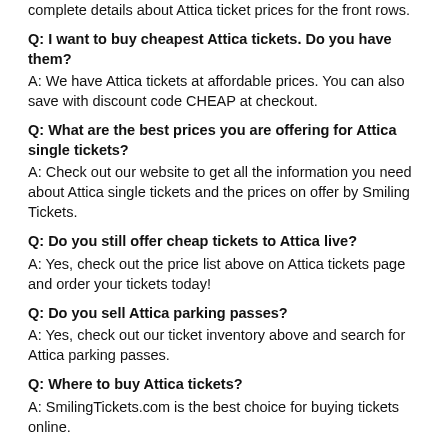complete details about Attica ticket prices for the front rows.
Q: I want to buy cheapest Attica tickets. Do you have them?
A: We have Attica tickets at affordable prices. You can also save with discount code CHEAP at checkout.
Q: What are the best prices you are offering for Attica single tickets?
A: Check out our website to get all the information you need about Attica single tickets and the prices on offer by Smiling Tickets.
Q: Do you still offer cheap tickets to Attica live?
A: Yes, check out the price list above on Attica tickets page and order your tickets today!
Q: Do you sell Attica parking passes?
A: Yes, check out our ticket inventory above and search for Attica parking passes.
Q: Where to buy Attica tickets?
A: SmilingTickets.com is the best choice for buying tickets online.
Q: Is there a discount on Attica tickets?